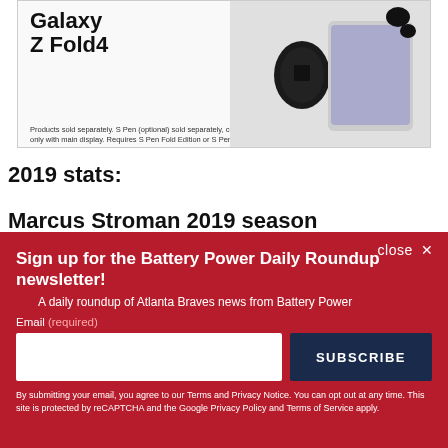[Figure (photo): Samsung Galaxy Z Fold4 advertisement showing the phone and accessories with fine print text]
2019 stats:
Marcus Stroman 2019 season
close ×
Sign up for the Battery Power Daily Roundup newsletter!
A daily roundup of Atlanta Braves news from Battery Power
Email (required)
SUBSCRIBE
By submitting your email, you agree to our Terms and Privacy Notice. You can opt out at any time. This site is protected by reCAPTCHA and the Google Privacy Policy and Terms of Service apply.